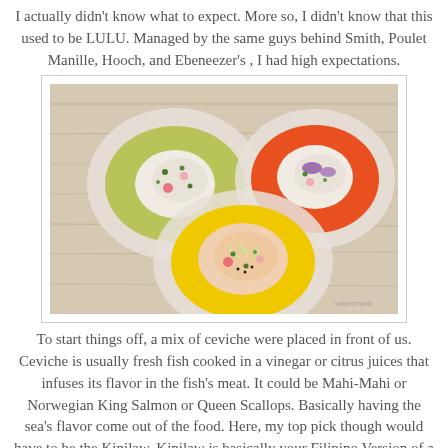I actually didn't know what to expect. More so, I didn't know that this used to be LULU. Managed by the same guys behind Smith, Poulet Manille, Hooch, and Ebeneezer's , I had high expectations.
[Figure (photo): Three plates of ceviche arranged on a wooden surface — one with green sauce (top left), one with orange/red sauce (top right), and one with yellow sauce (bottom center), each garnished with seafood and herbs.]
To start things off, a mix of ceviche were placed in front of us. Ceviche is usually fresh fish cooked in a vinegar or citrus juices that infuses its flavor in the fish's meat. It could be Mahi-Mahi or Norwegian King Salmon or Queen Scallops. Basically having the sea's flavor come out of the food. Here, my top pick though would have to be the Kinilaw. Kinilaw is basically your Filipino Version of a ceviche.Their version had a more familiar taste like the ones they make in the province. Having a beautiful presentation also, and with